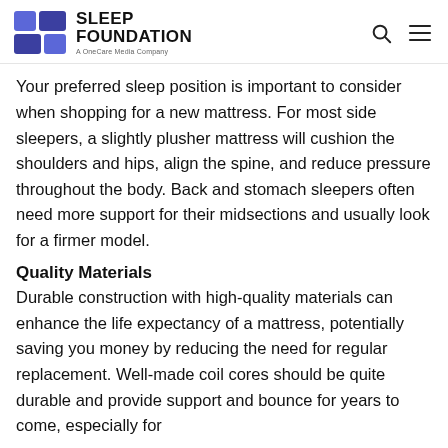SLEEP FOUNDATION — A OneCare Media Company
Your preferred sleep position is important to consider when shopping for a new mattress. For most side sleepers, a slightly plusher mattress will cushion the shoulders and hips, align the spine, and reduce pressure throughout the body. Back and stomach sleepers often need more support for their midsections and usually look for a firmer model.
Quality Materials
Durable construction with high-quality materials can enhance the life expectancy of a mattress, potentially saving you money by reducing the need for regular replacement. Well-made coil cores should be quite durable and provide support and bounce for years to come, especially for...